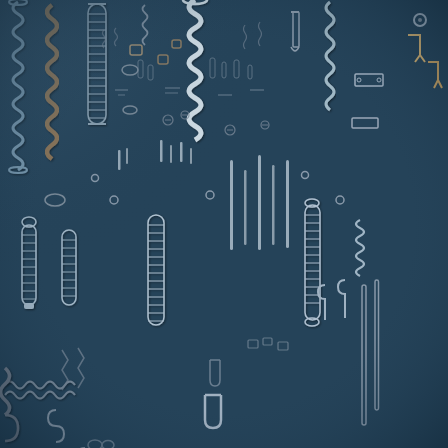[Figure (photo): Flat lay photograph on a dark navy/steel-blue background displaying a large assortment of metal hardware components and springs. Items include: various coil springs (compression, extension, and torsion springs of different sizes), tension springs with hooks, small cylindrical pins and spacers, brass and steel nuts, wire forms, clips, brackets, U-shaped clips, triangular wire ring, small rectangular metal plates, electronic components (resistors), small bolts and screws, tiny loops and hooks, and various specialty formed wire parts. Parts are arranged in a grid-like flat lay display, sorted roughly by type and size, showing the full range of small precision metal parts manufactured by a spring/hardware company.]